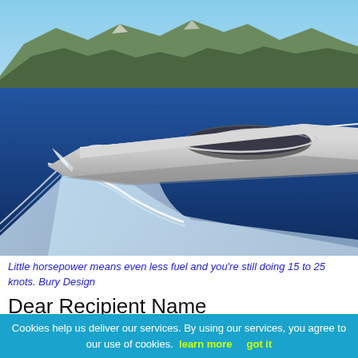[Figure (photo): A sleek modern speedboat/yacht cutting through blue ocean water at high speed, creating a large white wake. Mountains and blue sky visible in the background. The boat has a low, streamlined silver/white hull with a dark curved windshield.]
Little horsepower means even less fuel and you're still doing 15 to 25 knots. Bury Design
Dear Recipient Name
Cookies help us deliver our services. By using our services, you agree to our use of cookies. learn more   got it